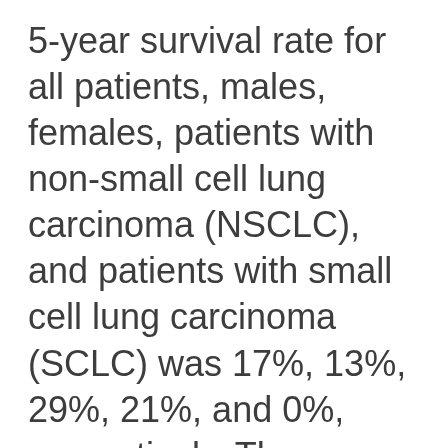5-year survival rate for all patients, males, females, patients with non-small cell lung carcinoma (NSCLC), and patients with small cell lung carcinoma (SCLC) was 17%, 13%, 29%, 21%, and 0%, respectively. The median survival time for all patients, males, females, those with NSCLC, and those with SCLC was 12.7 months, 12.0...